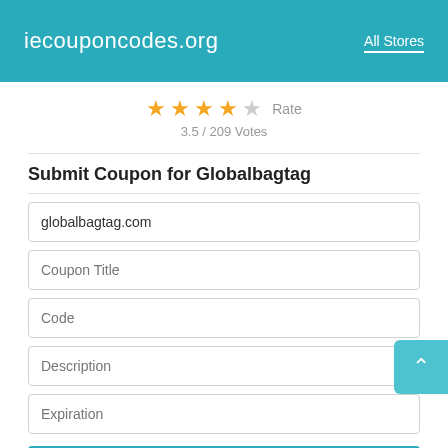iecouponcodes.org   All Stores
[Figure (other): Star rating display showing 4 filled gold stars and 1 empty grey star with 'Rate' label and '3.5 / 209 Votes' below]
Submit Coupon for Globalbagtag
globalbagtag.com
Coupon Title
Code
Description
Expiration
Submit